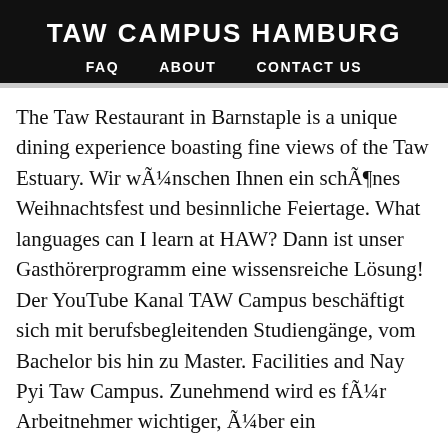TAW CAMPUS HAMBURG
FAQ   ABOUT   CONTACT US
The Taw Restaurant in Barnstaple is a unique dining experience boasting fine views of the Taw Estuary. Wir wÃ¼nschen Ihnen ein schÃ¶nes Weihnachtsfest und besinnliche Feiertage. What languages can I learn at HAW? Dann ist unser Gasthörerprogramm eine wissensreiche Lösung! Der YouTube Kanal TAW Campus beschäftigt sich mit berufsbegleitenden Studiengänge, vom Bachelor bis hin zu Master. Facilities and Nay Pyi Taw Campus. Zunehmend wird es fÃ¼r Arbeitnehmer wichtiger, Ã¼ber ein